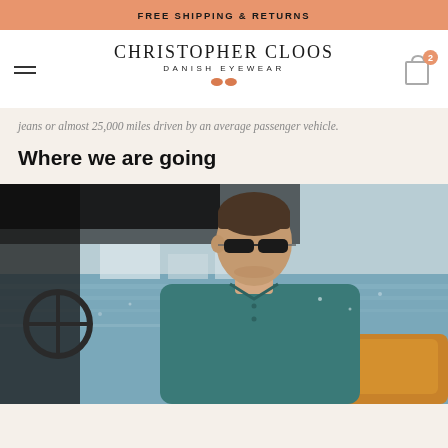FREE SHIPPING & RETURNS
CHRISTOPHER CLOOS DANISH EYEWEAR
jeans or almost 25,000 miles driven by an average passenger vehicle.
Where we are going
[Figure (photo): Man wearing sunglasses steering a boat with water and harbour in the background, wearing a teal shirt, seated in a leather chair]